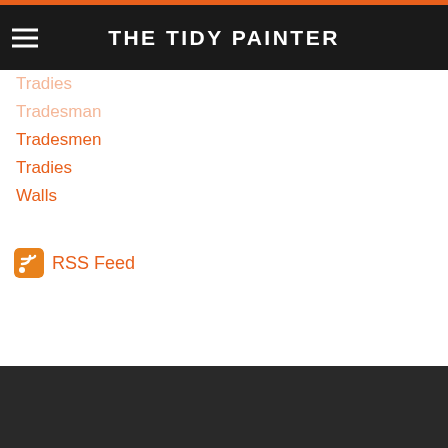THE TIDY PAINTER
Tradies
Tradesman
Tradesmen
Tradies
Walls
RSS Feed